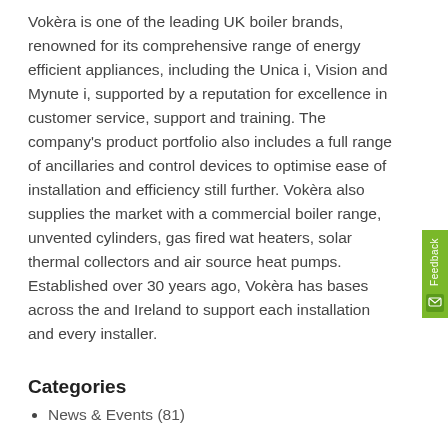Vokèra is one of the leading UK boiler brands, renowned for its comprehensive range of energy efficient appliances, including the Unica i, Vision and Mynute i, supported by a reputation for excellence in customer service, support and training. The company's product portfolio also includes a full range of ancillaries and control devices to optimise ease of installation and efficiency still further. Vokèra also supplies the market with a commercial boiler range, unvented cylinders, gas fired wat heaters, solar thermal collectors and air source heat pumps. Established over 30 years ago, Vokèra has bases across the and Ireland to support each installation and every installer.
Categories
News & Events (81)
Archives
July 2022 (1)